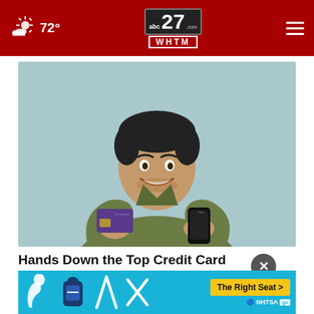72° | abc27 WHTM | Menu
[Figure (photo): Smiling man holding a purple credit card in one hand and a black smartphone in the other, wearing an olive green shirt, light teal background]
Hands Down the Top Credit Card of 2022
Comp
[Figure (infographic): NHTSA 'The Right Seat' advertisement banner with car seat safety icons on blue background and yellow button]